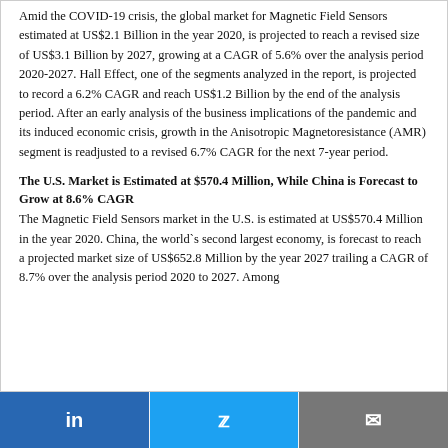Amid the COVID-19 crisis, the global market for Magnetic Field Sensors estimated at US$2.1 Billion in the year 2020, is projected to reach a revised size of US$3.1 Billion by 2027, growing at a CAGR of 5.6% over the analysis period 2020-2027. Hall Effect, one of the segments analyzed in the report, is projected to record a 6.2% CAGR and reach US$1.2 Billion by the end of the analysis period. After an early analysis of the business implications of the pandemic and its induced economic crisis, growth in the Anisotropic Magnetoresistance (AMR) segment is readjusted to a revised 6.7% CAGR for the next 7-year period.
The U.S. Market is Estimated at $570.4 Million, While China is Forecast to Grow at 8.6% CAGR
The Magnetic Field Sensors market in the U.S. is estimated at US$570.4 Million in the year 2020. China, the world`s second largest economy, is forecast to reach a projected market size of US$652.8 Million by the year 2027 trailing a CAGR of 8.7% over the analysis period 2020 to 2027. Among the other noteworthy geographic markets are...
in   Twitter   Email